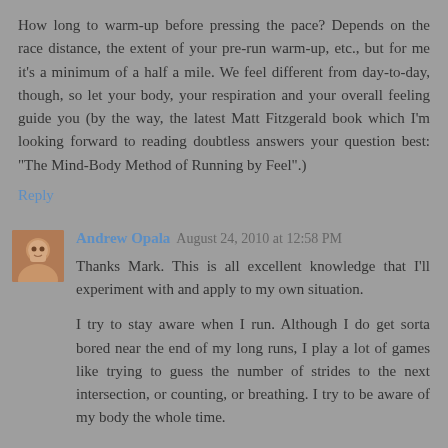How long to warm-up before pressing the pace? Depends on the race distance, the extent of your pre-run warm-up, etc., but for me it's a minimum of a half a mile. We feel different from day-to-day, though, so let your body, your respiration and your overall feeling guide you (by the way, the latest Matt Fitzgerald book which I'm looking forward to reading doubtless answers your question best: "The Mind-Body Method of Running by Feel".)
Reply
Andrew Opala  August 24, 2010 at 12:58 PM
Thanks Mark. This is all excellent knowledge that I'll experiment with and apply to my own situation.
I try to stay aware when I run. Although I do get sorta bored near the end of my long runs, I play a lot of games like trying to guess the number of strides to the next intersection, or counting, or breathing. I try to be aware of my body the whole time.